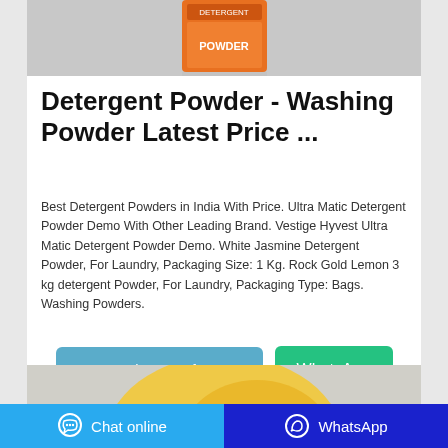[Figure (photo): Product image of detergent powder packaging at top of card]
Detergent Powder - Washing Powder Latest Price ...
Best Detergent Powders in India With Price. Ultra Matic Detergent Powder Demo With Other Leading Brand. Vestige Hyvest Ultra Matic Detergent Powder Demo. White Jasmine Detergent Powder, For Laundry, Packaging Size: 1 Kg. Rock Gold Lemon 3 kg detergent Powder, For Laundry, Packaging Type: Bags. Washing Powders.
[Figure (photo): Product image of detergent powder at bottom of card (partially visible)]
Chat online   WhatsApp